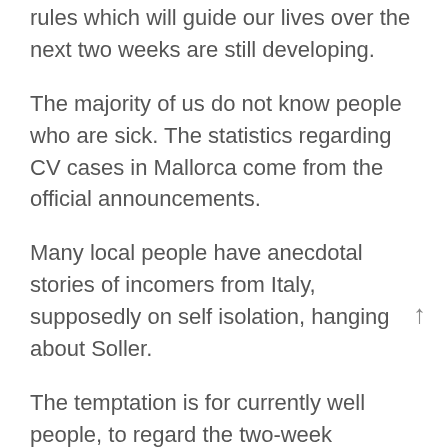rules which will guide our lives over the next two weeks are still developing.
The majority of us do not know people who are sick. The statistics regarding CV cases in Mallorca come from the official announcements.
Many local people have anecdotal stories of incomers from Italy, supposedly on self isolation, hanging about Soller.
The temptation is for currently well people, to regard the two-week shutdown and their self isolation period as a holiday.
It is difficult to abide by rules which change every hour.
With this as the backdrop visitors still arrive and are welcome. They are told that Mallorca is a safe from